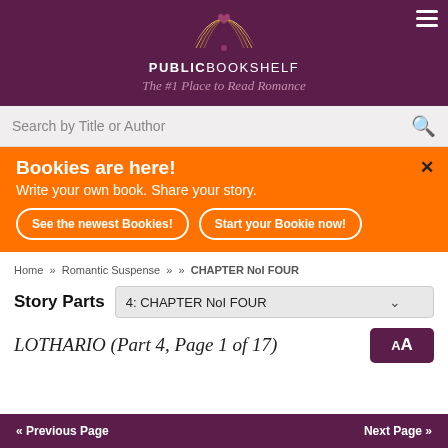[Figure (logo): PublicBookshelf logo with open book and heart, on dark purple background]
PUBLICBOOKSHELF
The #1 Place to Read Romance
Search by Title or Author
Bookies are here! Write your own book. Share your story.
See the newest Bookies! Start your Bookie now!
Home » Romantic Suspense » » CHAPTER NoI FOUR
Story Parts
4: CHAPTER NoI FOUR
LOTHARIO (Part 4, Page 1 of 17)
Previous Page
Next Page